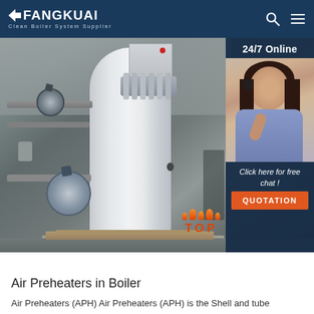FANGKUAI - Clean Boiler System Supplier
[Figure (photo): Industrial boiler photo with white cylindrical boiler tank, pipe fittings and valves on the left, inside a workshop/warehouse. On the right sidebar: 24/7 Online chat widget with a customer service representative photo, 'Click here for free chat!' text, and QUOTATION button. A TOP button with flame icons in bottom-right.]
Air Preheaters in Boiler
Air Preheaters (APH) Air Preheaters (APH) is the Shell and tube